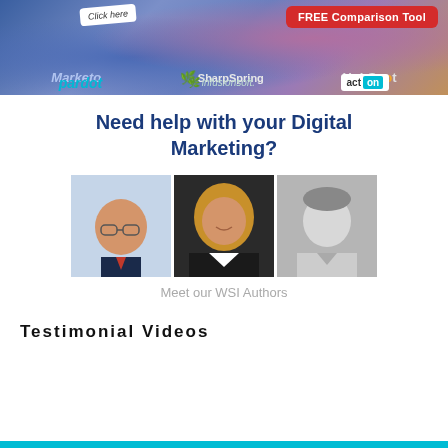[Figure (infographic): Banner advertisement showing marketing automation tool logos (Marketo, SharpSpring, HubSpot, Pardot, Infusionsoft, Act-On) with a red 'FREE Comparison Tool' button and 'Click here' note.]
Need help with your Digital Marketing?
[Figure (photo): Three headshot photos of WSI Authors side by side: a man in a suit speaking, a woman with light hair smiling, and a black-and-white photo of a man.]
Meet our WSI Authors
Testimonial Videos